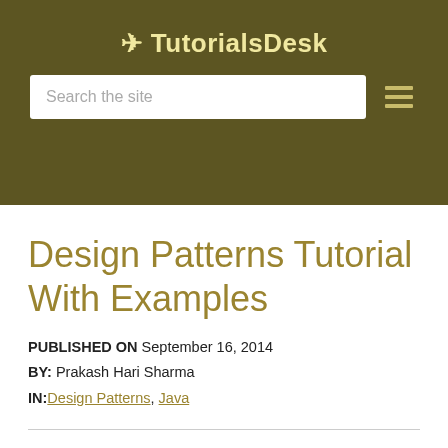🚀 TutorialsDesk
Design Patterns Tutorial With Examples
PUBLISHED ON September 16, 2014
BY: Prakash Hari Sharma
IN: Design Patterns, Java
Design patterns are a popular topic in software development. A design pattern is a common, well-described solution to a